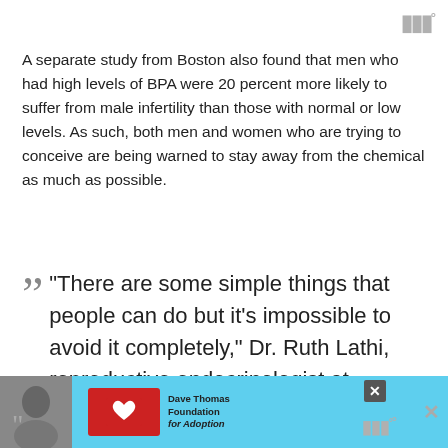www°
A separate study from Boston also found that men who had high levels of BPA were 20 percent more likely to suffer from male infertility than those with normal or low levels. As such, both men and women who are trying to conceive are being warned to stay away from the chemical as much as possible.
“There are some simple things that people can do but it’s impossible to avoid it completely,” Dr. Ruth Lathi, reproductive endocrinologist at Stanford University, and lead author on the recent study told The Telegraph. “Avoid anything that involves cooking or warming food in
[Figure (screenshot): Advertisement banner with cyan background featuring a photo of a woman, a Dave Thomas Foundation for Adoption logo in red, and close/dismiss buttons.]